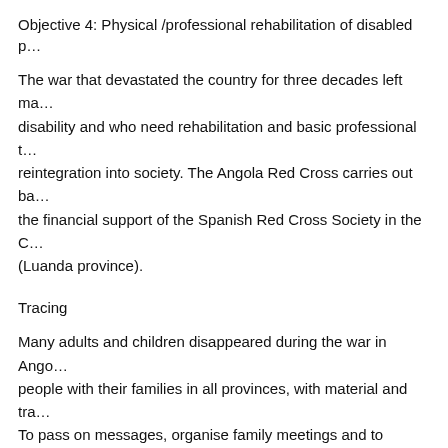Objective 4: Physical /professional rehabilitation of disabled p…
The war that devastated the country for three decades left ma… disability and who need rehabilitation and basic professional t… reintegration into society. The Angola Red Cross carries out ba… the financial support of the Spanish Red Cross Society in the C… (Luanda province).
Tracing
Many adults and children disappeared during the war in Ango… people with their families in all provinces, with material and tra… To pass on messages, organise family meetings and to assist… the gathering areas are the main focus of activities. There is a… ICRC tracing delegates, both as regards the action in the field a… of information and distribution of messages.
DISASTER PREPAREDNESS AND RESPONSE
The World Food Programme is confident that its pipeline will…